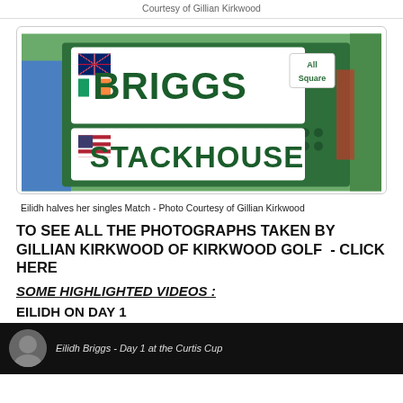Courtesy of Gillian Kirkwood
[Figure (photo): Golf scoreboard showing BRIGGS (with UK and Ireland flags) vs STACKHOUSE (with US flag), marked All Square]
Eilidh halves her singles Match - Photo Courtesy of Gillian Kirkwood
TO SEE ALL THE PHOTOGRAPHS TAKEN BY GILLIAN KIRKWOOD OF KIRKWOOD GOLF  - CLICK HERE
SOME HIGHLIGHTED VIDEOS :
EILIDH ON DAY 1
[Figure (screenshot): Video thumbnail - Eilidh Briggs Day 1 at the Curtis Cup]